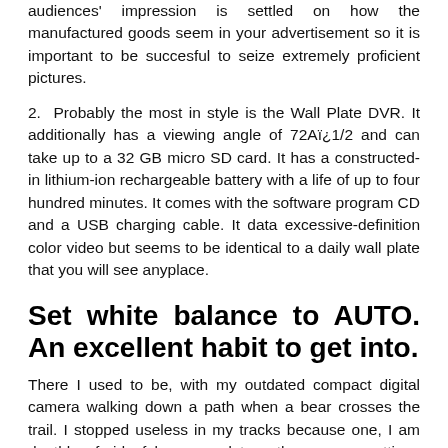audiences' impression is settled on how the manufactured goods seem in your advertisement so it is important to be succesful to seize extremely proficient pictures.
2. Probably the most in style is the Wall Plate DVR. It additionally has a viewing angle of 72Aï¿1/2 and can take up to a 32 GB micro SD card. It has a constructed-in lithium-ion rechargeable battery with a life of up to four hundred minutes. It comes with the software program CD and a USB charging cable. It data excessive-definition color video but seems to be identical to a daily wall plate that you will see anyplace.
Set white balance to AUTO. An excellent habit to get into.
There I used to be, with my outdated compact digital camera walking down a path when a bear crosses the trail. I stopped useless in my tracks because one, I am deathly afraid of bears, and two, the camera settings were off...